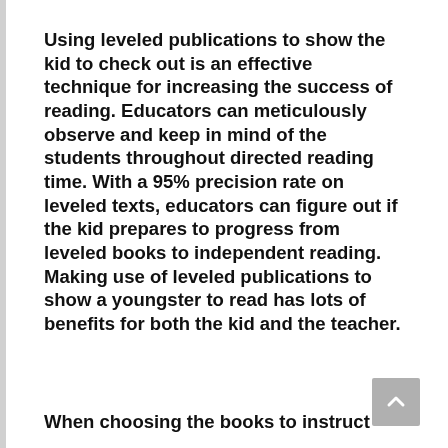Using leveled publications to show the kid to check out is an effective technique for increasing the success of reading. Educators can meticulously observe and keep in mind of the students throughout directed reading time. With a 95% precision rate on leveled texts, educators can figure out if the kid prepares to progress from leveled books to independent reading. Making use of leveled publications to show a youngster to read has lots of benefits for both the kid and the teacher.
When choosing the books to instruct